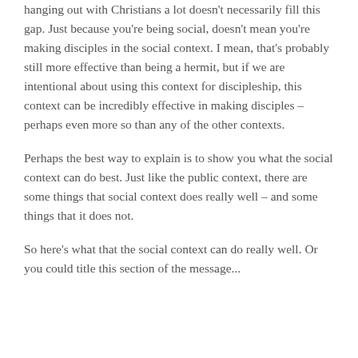hanging out with Christians a lot doesn't necessarily fill this gap. Just because you're being social, doesn't mean you're making disciples in the social context. I mean, that's probably still more effective than being a hermit, but if we are intentional about using this context for discipleship, this context can be incredibly effective in making disciples – perhaps even more so than any of the other contexts.
Perhaps the best way to explain is to show you what the social context can do best. Just like the public context, there are some things that social context does really well – and some things that it does not.
So here's what that the social context can do really well. Or you could title this section of the message...